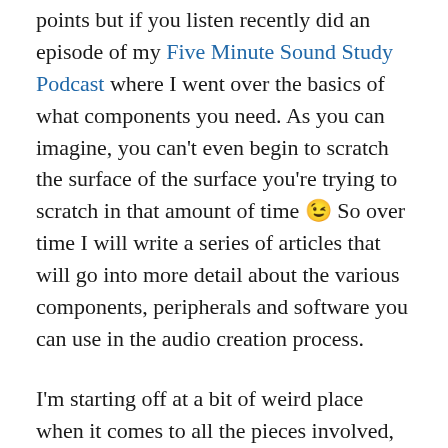points but if you listen recently did an episode of my Five Minute Sound Study Podcast where I went over the basics of what components you need. As you can imagine, you can't even begin to scratch the surface of the surface you're trying to scratch in that amount of time 😉 So over time I will write a series of articles that will go into more detail about the various components, peripherals and software you can use in the audio creation process.
I'm starting off at a bit of weird place when it comes to all the pieces involved, that being optimizing an already built Windows based PC for digital audio, the reason I'm starting off here is because I spent last night doing it so while it was fresh on my mind I thought I would tackle